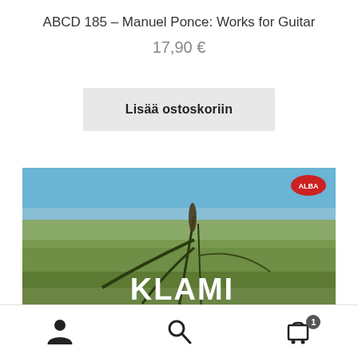ABCD 185 – Manuel Ponce: Works for Guitar
17,90 €
Lisää ostoskoriin
[Figure (photo): CD album cover showing a field of green grass with blue sky background. Large white text reads 'KLAMI RHAPSODIE'. A red logo (ALBA) is visible in the top right corner.]